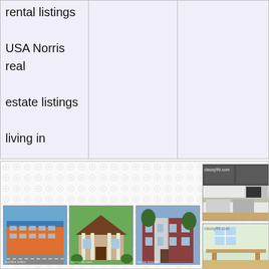rental listings USA Norris real estate listings living in independence.
[Figure (photo): Grid of real estate property photos showing apartment buildings, houses, townhouses and interior kitchen/room shots with classy99.com watermarks]